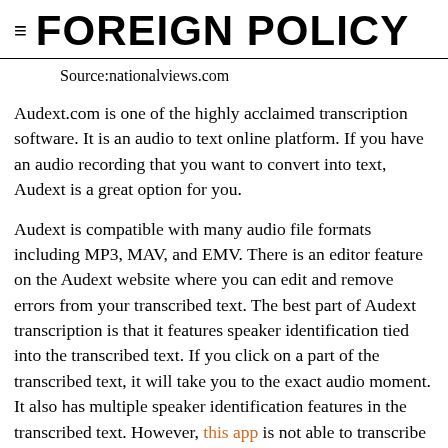≡ FOREIGN POLICY
Source:nationalviews.com
Audext.com is one of the highly acclaimed transcription software. It is an audio to text online platform. If you have an audio recording that you want to convert into text, Audext is a great option for you.
Audext is compatible with many audio file formats including MP3, MAV, and EMV. There is an editor feature on the Audext website where you can edit and remove errors from your transcribed text. The best part of Audext transcription is that it features speaker identification tied into the transcribed text. If you click on a part of the transcribed text, it will take you to the exact audio moment. It also has multiple speaker identification features in the transcribed text. However, this app is not able to transcribe